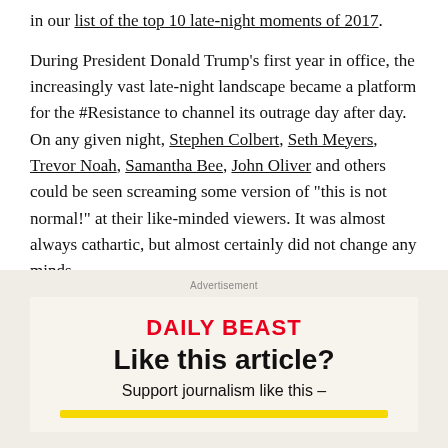in our list of the top 10 late-night moments of 2017.
During President Donald Trump's first year in office, the increasingly vast late-night landscape became a platform for the #Resistance to channel its outrage day after day. On any given night, Stephen Colbert, Seth Meyers, Trevor Noah, Samantha Bee, John Oliver and others could be seen screaming some version of "this is not normal!" at their like-minded viewers. It was almost always cathartic, but almost certainly did not change any minds.
Advertisement
DAILY BEAST
Like this article?
Support journalism like this –